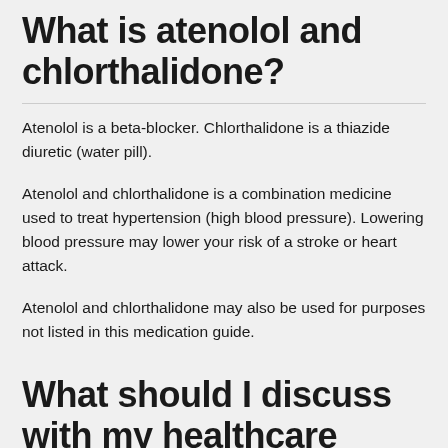What is atenolol and chlorthalidone?
Atenolol is a beta-blocker. Chlorthalidone is a thiazide diuretic (water pill).
Atenolol and chlorthalidone is a combination medicine used to treat hypertension (high blood pressure). Lowering blood pressure may lower your risk of a stroke or heart attack.
Atenolol and chlorthalidone may also be used for purposes not listed in this medication guide.
What should I discuss with my healthcare provider before